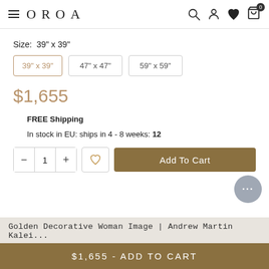OROA
Size: 39" x 39"
39" x 39"  |  47" x 47"  |  59" x 59"
$1,655
FREE Shipping
In stock in EU: ships in 4 - 8 weeks: 12
Add To Cart
Golden Decorative Woman Image | Andrew Martin Kalei...
$1,655 - ADD TO CART